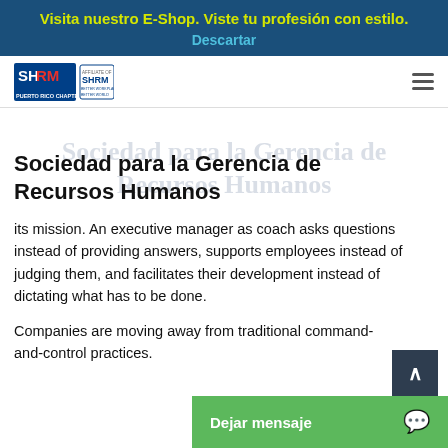Visita nuestro E-Shop. Viste tu profesión con estilo. Descartar
[Figure (logo): SHRM Puerto Rico Chapter logo and SHRM affiliate logo]
Sociedad para la Gerencia de Recursos Humanos
its mission. An executive manager as coach asks questions instead of providing answers, supports employees instead of judging them, and facilitates their development instead of dictating what has to be done.
Companies are moving away from traditional command-and-control practices.
This conception o…